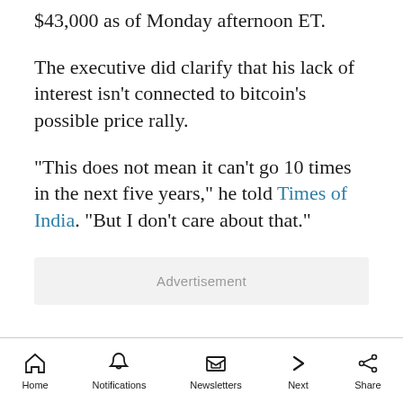$43,000 as of Monday afternoon ET.
The executive did clarify that his lack of interest isn't connected to bitcoin's possible price rally.
"This does not mean it can't go 10 times in the next five years," he told Times of India. "But I don't care about that."
Advertisement
Home  Notifications  Newsletters  Next  Share